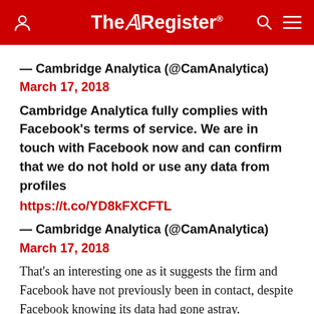The Register
— Cambridge Analytica (@CamAnalytica)
March 17, 2018
Cambridge Analytica fully complies with Facebook's terms of service. We are in touch with Facebook now and can confirm that we do not hold or use any data from profiles https://t.co/YD8kFXCFTL
— Cambridge Analytica (@CamAnalytica)
March 17, 2018
That's an interesting one as it suggests the firm and Facebook have not previously been in contact, despite Facebook knowing its data had gone astray.